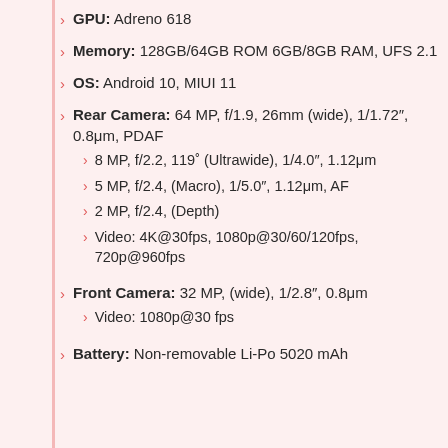GPU: Adreno 618
Memory: 128GB/64GB ROM 6GB/8GB RAM, UFS 2.1
OS: Android 10, MIUI 11
Rear Camera: 64 MP, f/1.9, 26mm (wide), 1/1.72″, 0.8μm, PDAF
8 MP, f/2.2, 119° (Ultrawide), 1/4.0″, 1.12μm
5 MP, f/2.4, (Macro), 1/5.0″, 1.12μm, AF
2 MP, f/2.4, (Depth)
Video: 4K@30fps, 1080p@30/60/120fps, 720p@960fps
Front Camera: 32 MP, (wide), 1/2.8″, 0.8μm
Video: 1080p@30 fps
Battery: Non-removable Li-Po 5020 mAh